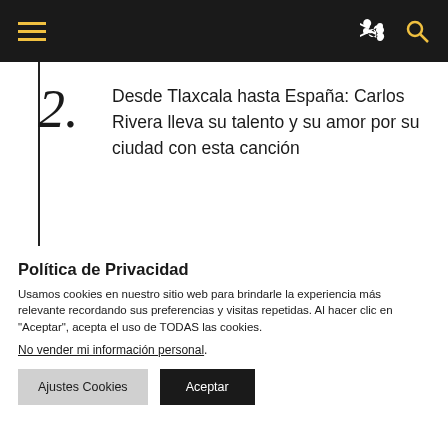Navigation bar with hamburger menu, share icon, and search icon
2. Desde Tlaxcala hasta España: Carlos Rivera lleva su talento y su amor por su ciudad con esta canción
3. Pablo Alborán y Sebastián Yatra quieren
Política de Privacidad
Usamos cookies en nuestro sitio web para brindarle la experiencia más relevante recordando sus preferencias y visitas repetidas. Al hacer clic en "Aceptar", acepta el uso de TODAS las cookies.
No vender mi información personal.
Ajustes Cookies   Aceptar